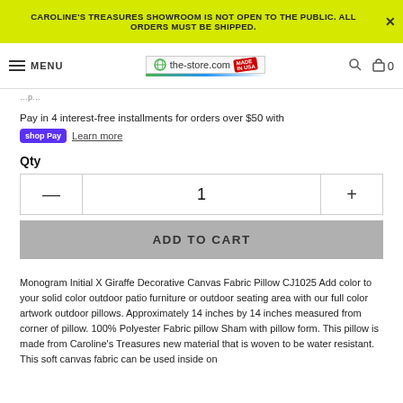CAROLINE'S TREASURES SHOWROOM IS NOT OPEN TO THE PUBLIC. ALL ORDERS MUST BE SHIPPED.
MENU | the-store.com | MADE IN USA
Pay in 4 interest-free installments for orders over $50 with shop Pay Learn more
Qty
1
ADD TO CART
Monogram Initial X Giraffe Decorative Canvas Fabric Pillow CJ1025 Add color to your solid color outdoor patio furniture or outdoor seating area with our full color artwork outdoor pillows. Approximately 14 inches by 14 inches measured from corner of pillow. 100% Polyester Fabric pillow Sham with pillow form. This pillow is made from Caroline's Treasures new material that is woven to be water resistant. This soft canvas fabric can be used inside on